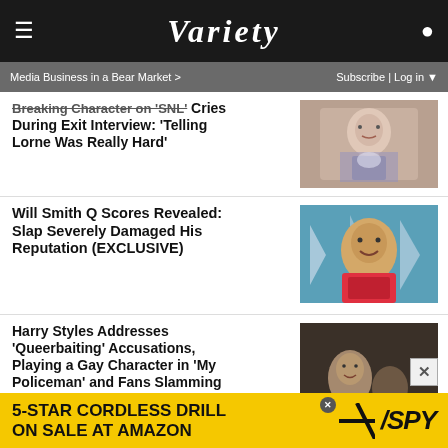VARIETY
Media Business in a Bear Market >  Subscribe | Log in
Breaking Character on 'SNL' Cries During Exit Interview: 'Telling Lorne Was Really Hard'
[Figure (photo): Woman in floral top holding a cup]
Will Smith Q Scores Revealed: Slap Severely Damaged His Reputation (EXCLUSIVE)
[Figure (photo): Will Smith smiling in front of star-spangled background]
Harry Styles Addresses 'Queerbaiting' Accusations, Playing a Gay Character in 'My Policeman' and Fans Slamming Olivia Wilde
[Figure (photo): Dark scene with male figures]
5-STAR CORDLESS DRILL ON SALE AT AMAZON / SPY